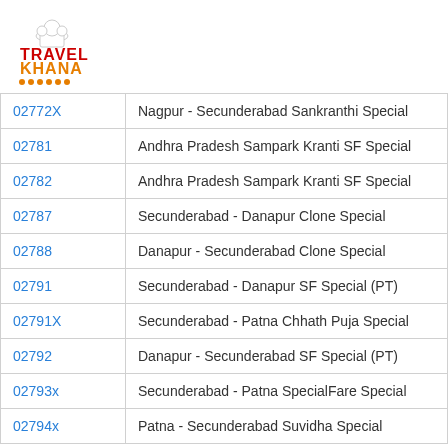[Figure (logo): TravelKhana logo with chef hat icon, red TRAVEL text, orange KHANA text, orange dots underline]
| 02772X | Nagpur - Secunderabad Sankranthi Special |
| 02781 | Andhra Pradesh Sampark Kranti SF Special |
| 02782 | Andhra Pradesh Sampark Kranti SF Special |
| 02787 | Secunderabad - Danapur Clone Special |
| 02788 | Danapur - Secunderabad Clone Special |
| 02791 | Secunderabad - Danapur SF Special (PT) |
| 02791X | Secunderabad - Patna Chhath Puja Special |
| 02792 | Danapur - Secunderabad SF Special (PT) |
| 02793x | Secunderabad - Patna SpecialFare Special |
| 02794x | Patna - Secunderabad Suvidha Special |